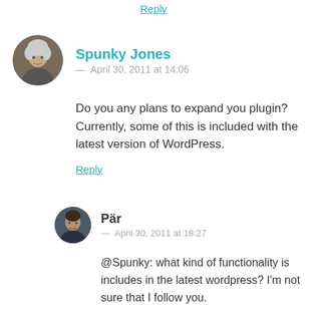Reply
Spunky Jones
— April 30, 2011 at 14:06
Do you any plans to expand you plugin? Currently, some of this is included with the latest version of WordPress.
Reply
Pär
— April 30, 2011 at 18:27
@Spunky: what kind of functionality is includes in the latest wordpress? I'm not sure that I follow you.
Reply